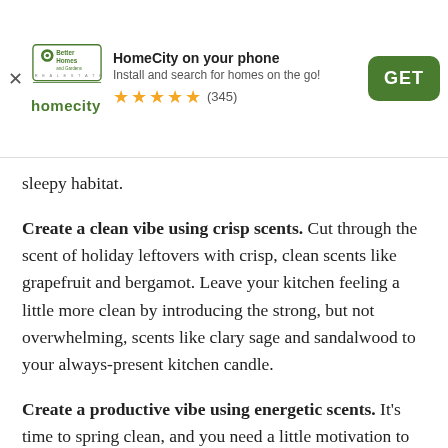[Figure (screenshot): App install banner for HomeCity (Better Homes and Gardens Real Estate). Shows logo, title 'HomeCity on your phone', subtitle 'Install and search for homes on the go!', five gold stars with (345) reviews, and a green GET button.]
sleepy habitat.
Create a clean vibe using crisp scents. Cut through the scent of holiday leftovers with crisp, clean scents like grapefruit and bergamot. Leave your kitchen feeling a little more clean by introducing the strong, but not overwhelming, scents like clary sage and sandalwood to your always-present kitchen candle.
Create a productive vibe using energetic scents. It's time to spring clean, and you need a little motivation to get up and go! Prepare your spare bedrooms for springtime guests with some pep in your step by opting for a scent with traces of eucalyptus and lemongrass. Your friends